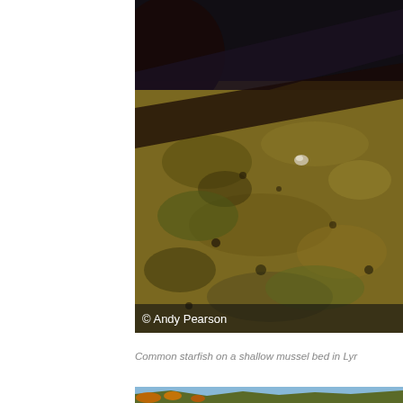[Figure (photo): Close-up photograph of common starfish on a shallow mussel bed, with dark rocky/seaweed-covered surface and a circular dark object (possibly a shell) in upper left. Photo credit: Andy Pearson.]
Common starfish on a shallow mussel bed in Lyr
[Figure (photo): Landscape photograph showing coastal cliffs with orange lichen against a blue sky with white clouds.]